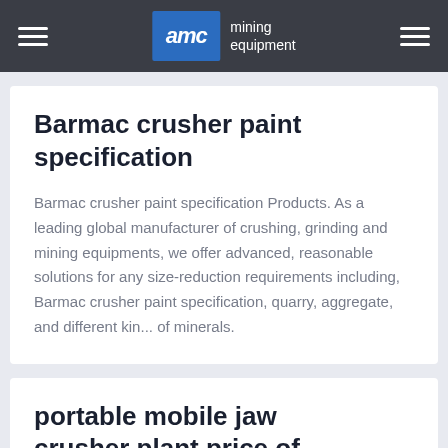AMC mining equipment
Barmac crusher paint specification
Barmac crusher paint specification Products. As a leading global manufacturer of crushing, grinding and mining equipments, we offer advanced, reasonable solutions for any size-reduction requirements including, Barmac crusher paint specification, quarry, aggregate, and different kin... of minerals.
portable mobile jaw crusher plant price of stone jaw ...